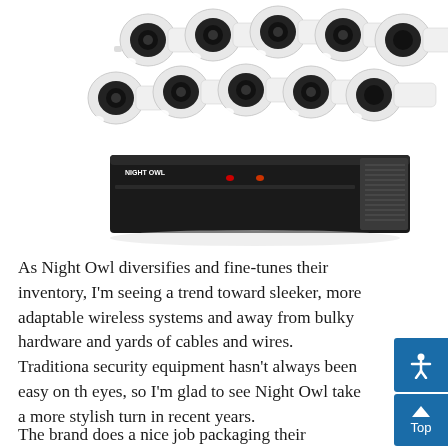[Figure (photo): Product photo of Night Owl security camera system: 10 white bullet cameras arranged in two rows at top, and a black Night Owl DVR/NVR unit below them, all on white background.]
As Night Owl diversifies and fine-tunes their inventory, I'm seeing a trend toward sleeker, more adaptable wireless systems and away from bulky hardware and yards of cables and wires. Traditional security equipment hasn't always been easy on the eyes, so I'm glad to see Night Owl take a more stylish turn in recent years.
The brand does a nice job packaging their